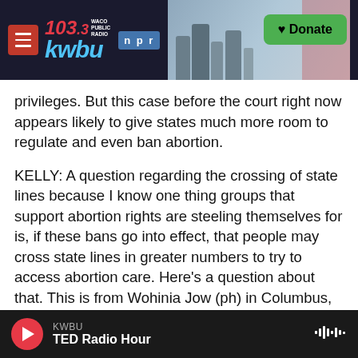[Figure (screenshot): KWBU 103.3 NPR radio station header logo with hamburger menu, station logo in red/blue/white, NPR badge, photo of industrial silos, and green Donate button]
privileges. But this case before the court right now appears likely to give states much more room to regulate and even ban abortion.
KELLY: A question regarding the crossing of state lines because I know one thing groups that support abortion rights are steeling themselves for is, if these bans go into effect, that people may cross state lines in greater numbers to try to access abortion care. Here's a question about that. This is from Wohinia Jow (ph) in Columbus, Ohio.
WOHINIA JOW: Do states truly have the power to
KWBU
TED Radio Hour